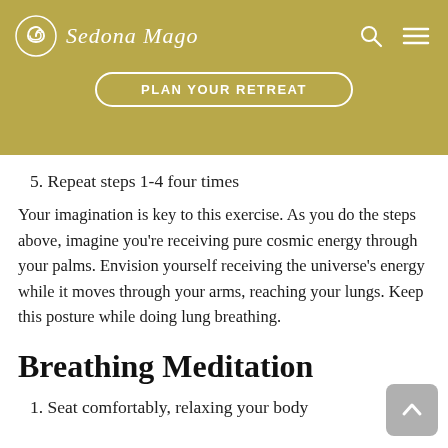Sedona Mago — PLAN YOUR RETREAT
5. Repeat steps 1-4 four times
Your imagination is key to this exercise. As you do the steps above, imagine you're receiving pure cosmic energy through your palms. Envision yourself receiving the universe's energy while it moves through your arms, reaching your lungs. Keep this posture while doing lung breathing.
Breathing Meditation
1. Seat comfortably, relaxing your body